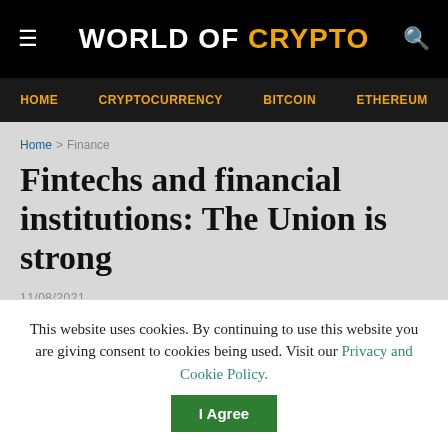WORLD OF CRYPTO
HOME  CRYPTOCURRENCY  BITCOIN  ETHEREUM
Home > Finance
Fintechs and financial institutions: The Union is strong
11/08/2021
[Figure (other): Article image placeholder]
This website uses cookies. By continuing to use this website you are giving consent to cookies being used. Visit our Privacy and Cookie Policy.